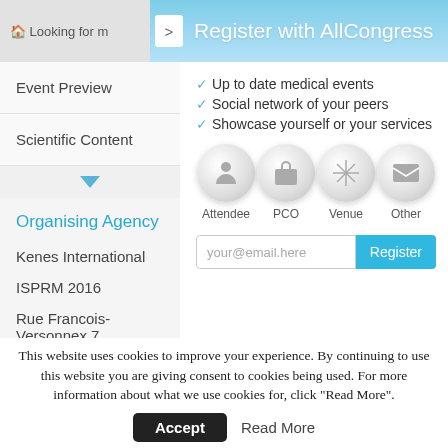Register with AllCongress
Event Preview
Scientific Content
Organising Agency
Kenes International
ISPRM 2016
Rue Francois-Versonnex 7
1207 Geneva
Up to date medical events
Social network of your peers
Showcase yourself or your services
[Figure (infographic): Four circular icons labeled Attendee, PCO, Venue, Other]
your@email.here | Register
This website uses cookies to improve your experience. By continuing to use this website you are giving consent to cookies being used. For more information about what we use cookies for, click "Read More".
Accept | Read More